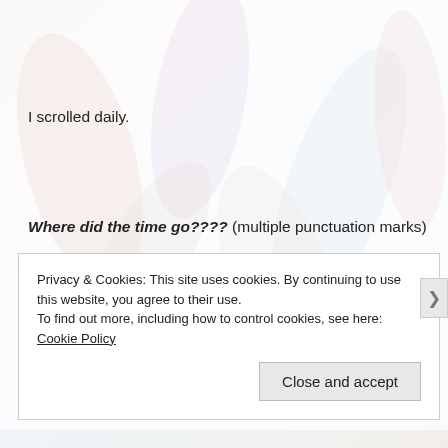[Figure (photo): Faded background photo of colorful pencils or flowers, mostly washed out with whites and pastel tones]
I scrolled daily.
Where did the time go???? (multiple punctuation marks)
Privacy & Cookies: This site uses cookies. By continuing to use this website, you agree to their use.
To find out more, including how to control cookies, see here: Cookie Policy
Close and accept